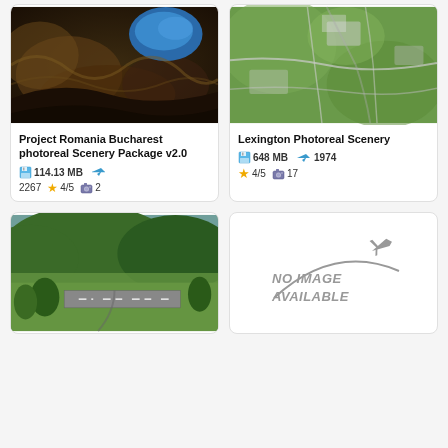[Figure (screenshot): Aerial photoreal scenery of Romania/Bucharest with dark terrain and blue lake]
Project Romania Bucharest photoreal Scenery Package v2.0
114.13 MB  2267  4/5  2
[Figure (screenshot): Aerial photoreal scenery of Lexington showing green urban area with roads]
Lexington Photoreal Scenery
648 MB  1974  4/5  17
[Figure (screenshot): Aerial scenery of green forested hills with airstrip]
[Figure (other): No Image Available placeholder with airplane silhouette and arc]